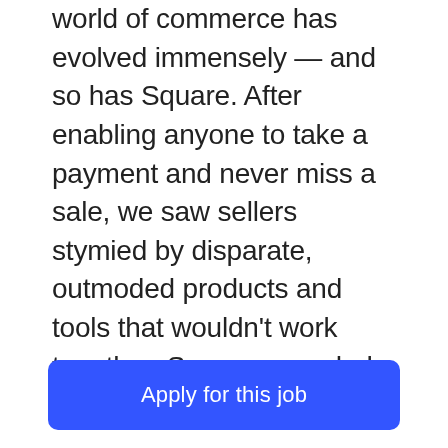world of commerce has evolved immensely — and so has Square. After enabling anyone to take a payment and never miss a sale, we saw sellers stymied by disparate, outmoded products and tools that wouldn't work together. So we expanded into software and started building integrated, omnichannel solutions — to help sellers sell online, manage inventory, run a busy kitchen, book appointments, engage loyal buyers, and hire and pay staff. And across it all, we've embedded financial services tools at the point of sale, so merchants can access a business loan and manage their cash flow all in
Apply for this job